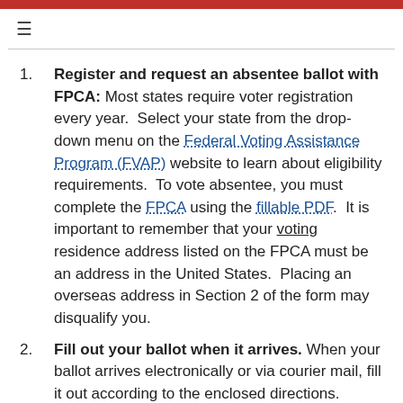≡
Register and request an absentee ballot with FPCA: Most states require voter registration every year.  Select your state from the drop-down menu on the Federal Voting Assistance Program (FVAP) website to learn about eligibility requirements.  To vote absentee, you must complete the FPCA using the fillable PDF.  It is important to remember that your voting residence address listed on the FPCA must be an address in the United States.  Placing an overseas address in Section 2 of the form may disqualify you.
Fill out your ballot when it arrives. When your ballot arrives electronically or via courier mail, fill it out according to the enclosed directions.
Send in your ballot: Some, but not all, states allow